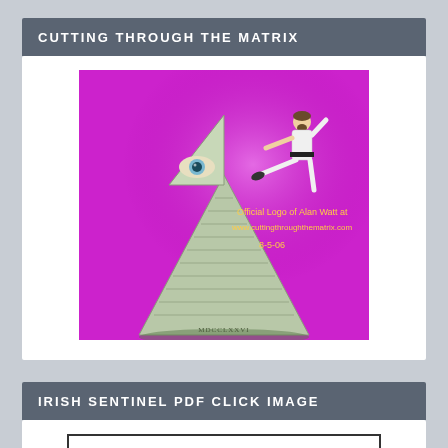CUTTING THROUGH THE MATRIX
[Figure (illustration): Official Logo of Alan Watt at www.cuttingthroughthematrix.com 8-5-06. Purple background with a karate figure kicking an illuminati pyramid eye symbol. Text reads: Official Logo of Alan Watt at www.cuttingthroughthematrix.com 8-5-06]
IRISH SENTINEL PDF CLICK IMAGE
[Figure (logo): Irish Sentinel logo with text IRISH SENTINEL in serif font with a small lighthouse icon between the words]